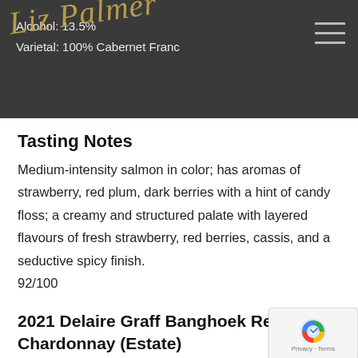Alcohol: 13.5%
Varietal: 100% Cabernet Franc
Tasting Notes
Medium-intensity salmon in color; has aromas of strawberry, red plum, dark berries with a hint of candy floss; a creamy and structured palate with layered flavours of fresh strawberry, red berries, cassis, and a seductive spicy finish.
92/100
2021 Delaire Graff Banghoek Reserve Chardonnay (Estate)